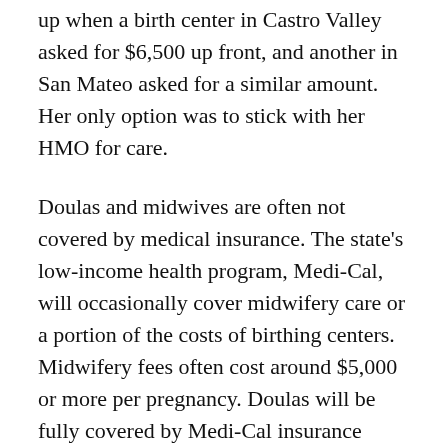up when a birth center in Castro Valley asked for $6,500 up front, and another in San Mateo asked for a similar amount. Her only option was to stick with her HMO for care.
Doulas and midwives are often not covered by medical insurance. The state's low-income health program, Medi-Cal, will occasionally cover midwifery care or a portion of the costs of birthing centers. Midwifery fees often cost around $5,000 or more per pregnancy. Doulas will be fully covered by Medi-Cal insurance starting in January of 2022, according to DHCS.
Doula services can sometimes be more affordable or free. Some city health departments, like Contra Costa Health Services, offer programs to people who want to be trained as a doula. Other hospitals, like San Francisco General Hospital and Dignity Health, hav...